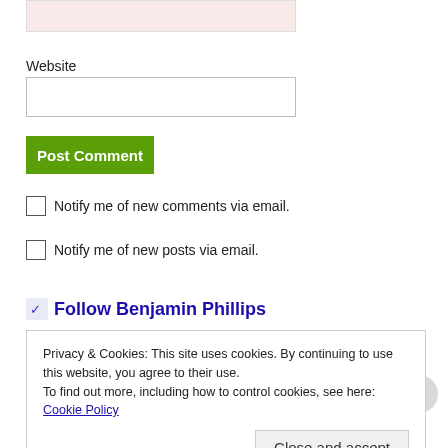[Figure (screenshot): Pink/light red input field (partially visible at top of page)]
Website
[Figure (screenshot): Empty text input field for Website URL]
[Figure (screenshot): Green 'Post Comment' button]
Notify me of new comments via email.
Notify me of new posts via email.
Follow Benjamin Phillips
Privacy & Cookies: This site uses cookies. By continuing to use this website, you agree to their use.
To find out more, including how to control cookies, see here: Cookie Policy
Close and accept